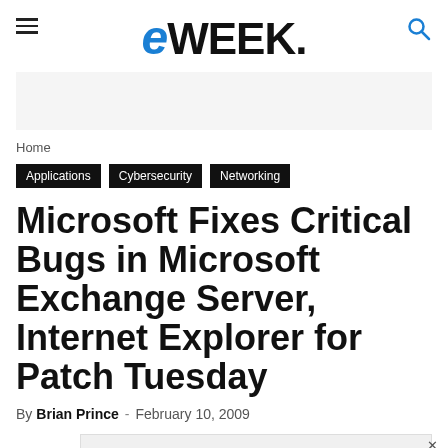eWEEK
Home
Applications
Cybersecurity
Networking
Microsoft Fixes Critical Bugs in Microsoft Exchange Server, Internet Explorer for Patch Tuesday
By Brian Prince - February 10, 2009